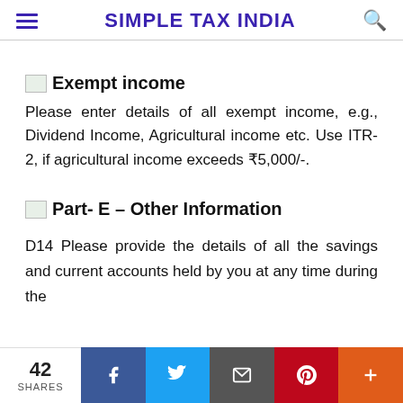SIMPLE TAX INDIA
Exempt income
Please enter details of all exempt income, e.g., Dividend Income, Agricultural income etc. Use ITR-2, if agricultural income exceeds ₹5,000/-.
Part- E – Other Information
D14 Please provide the details of all the savings and current accounts held by you at any time during the